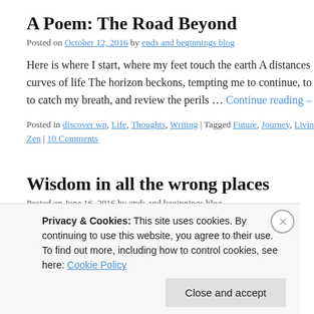A Poem: The Road Beyond
Posted on October 12, 2016 by ends and beginnings blog
Here is where I start, where my feet touch the earth A distances curves of life The horizon beckons, tempting me to continue, to to catch my breath, and review the perils … Continue reading –
Posted in discover wp, Life, Thoughts, Writing | Tagged Future, Journey, Living, Zen | 10 Comments
Wisdom in all the wrong places
Posted on June 16, 2016 by ends and beginnings blog
Privacy & Cookies: This site uses cookies. By continuing to use this website, you agree to their use. To find out more, including how to control cookies, see here: Cookie Policy